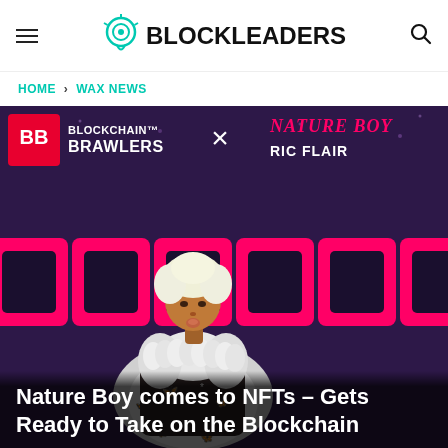BLOCKLEADERS
HOME > WAX NEWS
[Figure (photo): Promotional image for Blockchain Brawlers x Nature Boy Ric Flair NFT collaboration. Dark purple background with pink hexagonal tokens. A toy figure of Ric Flair with white hair and butterfly-covered robe in the foreground. Text reads BLOCKCHAIN BRAWLERS x NATURE BOY RIC FLAIR.]
Nature Boy comes to NFTs – Gets Ready to Take on the Blockchain